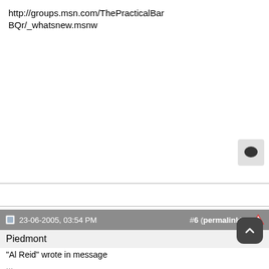http://groups.msn.com/ThePracticalBarBQr/_whatsnew.msnw
[Figure (other): Speech bubble / chat icon in a light gray rounded square]
23-06-2005, 03:54 PM   #6 (permalink)  ⚠
Piedmont
"Al Reid" wrote in message
...
SNIP
Did you eventually find one that works at a reasonable distance or did you give up on the remote? It would be nice if I could monitor the temps while mowing, gardening or working in the shop. Or, perhaps, I could just